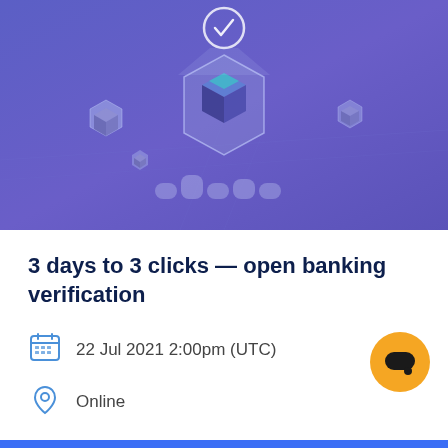[Figure (illustration): Purple/blue gradient banner with 3D isometric blockchain/crypto cube illustration, floating geometric blocks, checkmark icon at top center, decorative wavy shapes at bottom]
3 days to 3 clicks — open banking verification
22 Jul 2021 2:00pm (UTC)
Online